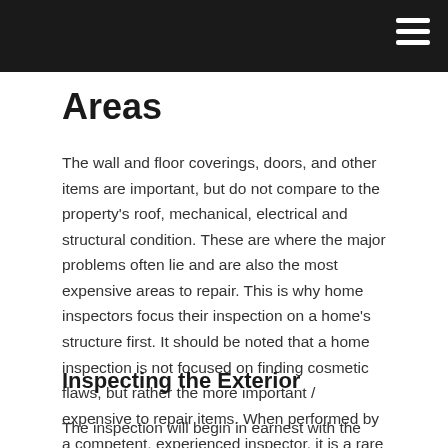Areas
The wall and floor coverings, doors, and other items are important, but do not compare to the property’s roof, mechanical, electrical and structural condition. These are where the major problems often lie and are also the most expensive areas to repair. This is why home inspectors focus their inspection on a home’s structure first. It should be noted that a home inspection is not focused on finding cosmetic flaws, but rather the more important / expensive to repair items. When performed by a competent, experienced inspector, it is a rare occasion indeed when anything escapes the 1st insight inspector. However 1st insight Inspections guarantees their inspections.
Inspecting the Exterior
The inspection will begin in earnest with the inspector